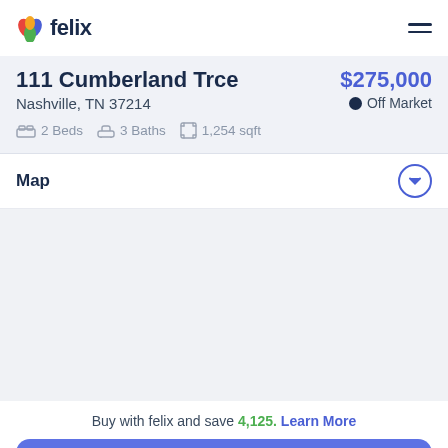felix
111 Cumberland Trce
$275,000 · Nashville, TN 37214 · Off Market · 2 Beds · 3 Baths · 1,254 sqft
Map
[Figure (map): Blank map area for 111 Cumberland Trce, Nashville, TN 37214]
Buy with felix and save 4,125. Learn More
Book a tour